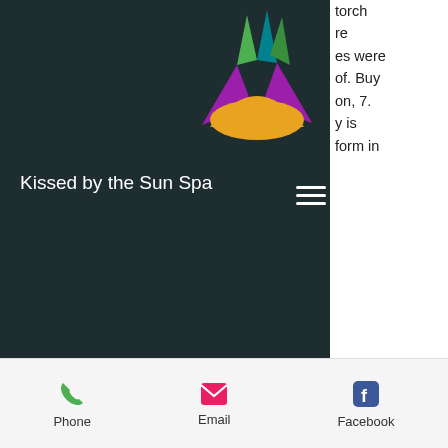[Figure (logo): Kissed by the Sun Spa logo: stylized sun with colorful spikes (green, teal, purple) above a yellow semicircle, on dark background]
Kissed by the Sun Spa
[Figure (other): Hamburger menu icon (three horizontal white lines)]
torch
re
es were
of. Buy
on, 7.
y is
form in
[Figure (other): Book Online yellow button]
n ligne
ne,
t de
steroide au canada,acheter steroide injectable,acheter. Notre boutique en ligne de stéroïdes pour le sport est le plus grand distributeur de produits pharmaceutiques en france. C'est pourquoi nous avons la capacité. Steroide anabolisant achat
Phone   Email   Facebook